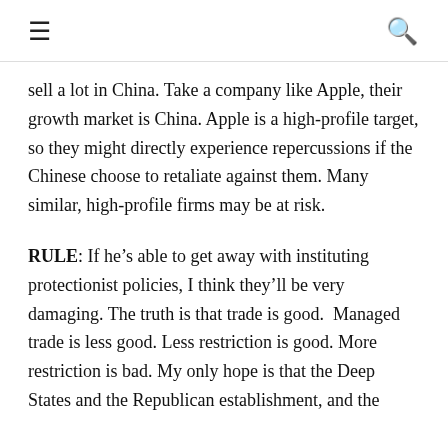≡  🔍
sell a lot in China. Take a company like Apple, their growth market is China. Apple is a high-profile target, so they might directly experience repercussions if the Chinese choose to retaliate against them. Many similar, high-profile firms may be at risk.
RULE: If he's able to get away with instituting protectionist policies, I think they'll be very damaging. The truth is that trade is good.  Managed trade is less good. Less restriction is good. More restriction is bad. My only hope is that the Deep States and the Republican establishment, and the